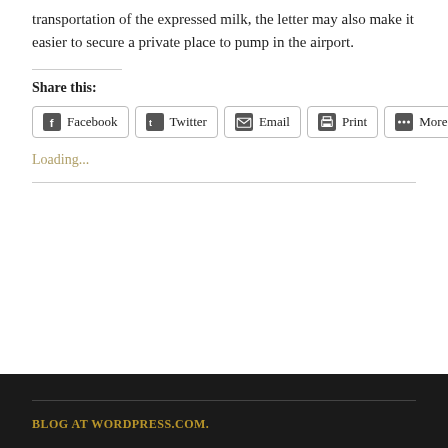transportation of the expressed milk, the letter may also make it easier to secure a private place to pump in the airport.
Share this:
[Figure (infographic): Social sharing buttons: Facebook, Twitter, Email, Print, More]
Loading...
BLOG AT WORDPRESS.COM.